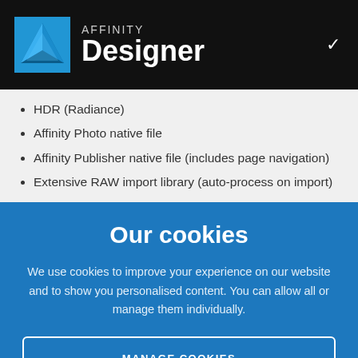[Figure (logo): Affinity Designer logo with blue diamond icon, text 'AFFINITY' in gray and 'Designer' in white bold, on black header bar with a chevron arrow on the right]
HDR (Radiance)
Affinity Photo native file
Affinity Publisher native file (includes page navigation)
Extensive RAW import library (auto-process on import)
Our cookies
We use cookies to improve your experience on our website and to show you personalised content. You can allow all or manage them individually.
MANAGE COOKIES
ALLOW ALL